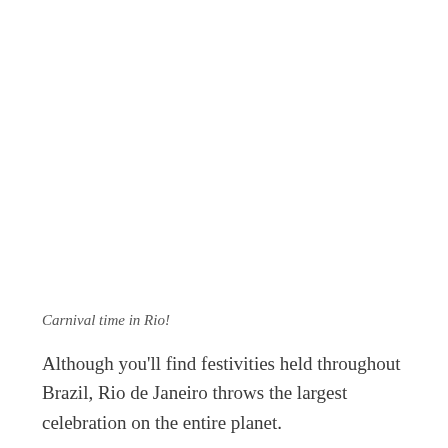Carnival time in Rio!
Although you'll find festivities held throughout Brazil, Rio de Janeiro throws the largest celebration on the entire planet.